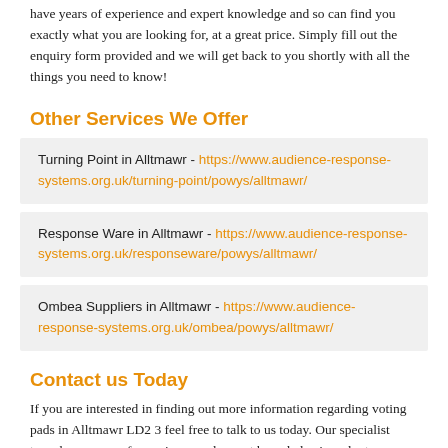have years of experience and expert knowledge and so can find you exactly what you are looking for, at a great price. Simply fill out the enquiry form provided and we will get back to you shortly with all the things you need to know!
Other Services We Offer
Turning Point in Alltmawr - https://www.audience-response-systems.org.uk/turning-point/powys/alltmawr/
Response Ware in Alltmawr - https://www.audience-response-systems.org.uk/responseware/powys/alltmawr/
Ombea Suppliers in Alltmawr - https://www.audience-response-systems.org.uk/ombea/powys/alltmawr/
Contact us Today
If you are interested in finding out more information regarding voting pads in Alltmawr LD2 3 feel free to talk to us today. Our specialist team have years of experience and expert knowledge in order to provide you with the results you are looking for, at a great